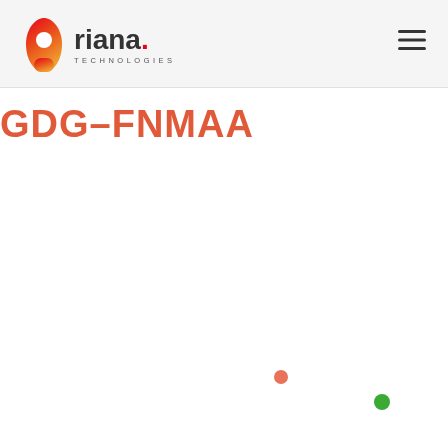Ariana Technologies
GDG-FNMAA
[Figure (scatter-plot): Two isolated data points: a salmon/orange-red circle and a green circle, appearing on a near-empty white background suggesting a partially-loaded or sparse scatter plot.]